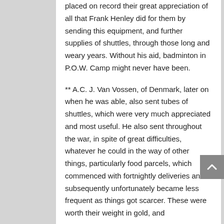placed on record their great appreciation of all that Frank Henley did for them by sending this equipment, and further supplies of shuttles, through those long and weary years. Without his aid, badminton in P.O.W. Camp might never have been.
** A.C. J. Van Vossen, of Denmark, later on when he was able, also sent tubes of shuttles, which were very much appreciated and most useful. He also sent throughout the war, in spite of great difficulties, whatever he could in the way of other things, particularly food parcels, which commenced with fortnightly deliveries and subsequently unfortunately became less frequent as things got scarcer. These were worth their weight in gold, and